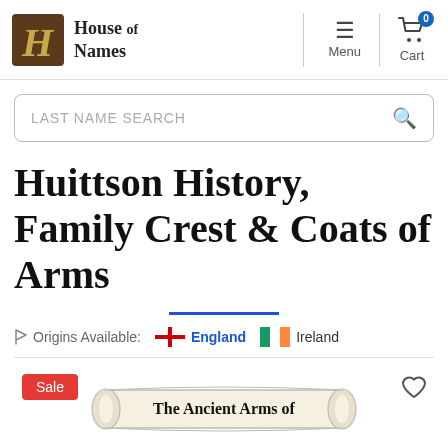House of Names — Menu — Cart (0)
LAST NAME SEARCH
Huittson History, Family Crest & Coats of Arms
Origins Available: England | Ireland
[Figure (illustration): Scroll banner reading 'The Ancient Arms of' with heraldic decorations below, with a Sale badge and heart/wishlist icon]
The Ancient Arms of